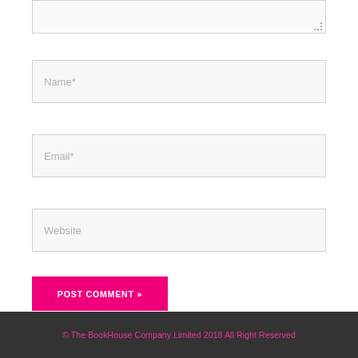Name*
Email*
Website
POST COMMENT »
© The BookHouse Company Limited 2018 All Right Reserved